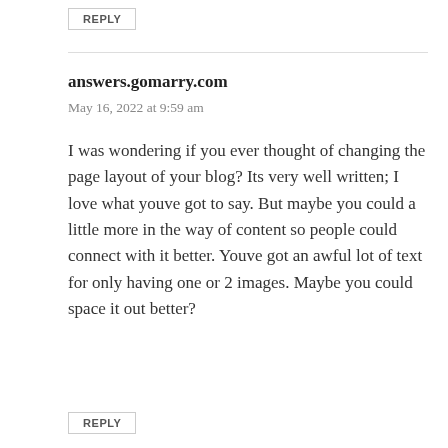REPLY
answers.gomarry.com
May 16, 2022 at 9:59 am
I was wondering if you ever thought of changing the page layout of your blog? Its very well written; I love what youve got to say. But maybe you could a little more in the way of content so people could connect with it better. Youve got an awful lot of text for only having one or 2 images. Maybe you could space it out better?
REPLY